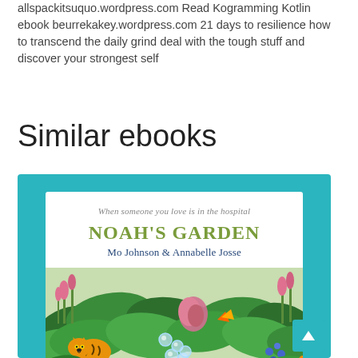allspackitsuquo.wordpress.com Read Kogramming Kotlin ebook beurrekakey.wordpress.com 21 days to resilience how to transcend the daily grind deal with the tough stuff and discover your strongest self
Similar ebooks
[Figure (illustration): Book cover for 'Noah's Garden' by Mo Johnson & Annabelle Josse. Subtitle: 'When someone you love is in the hospital'. Features a lush garden scene with tropical plants, flowers, a tiger, and glass marbles, set in a teal-bordered card.]